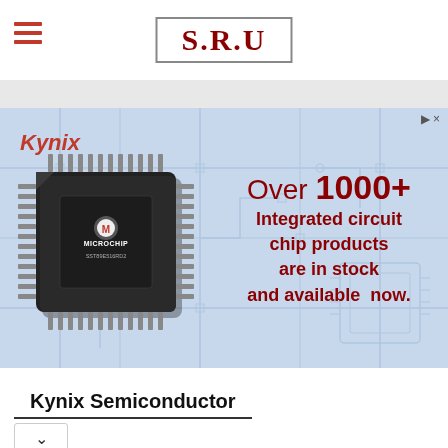S.R.U
[Figure (illustration): Kynix Semiconductor advertisement banner showing a Microchip TQFP integrated circuit chip (SST89E516RD2) on a light blue background with circuit board watermark. Text reads: Kynix logo, Over 1000+ Integrated circuit chip products are in stock and available now.]
Kynix Semiconductor